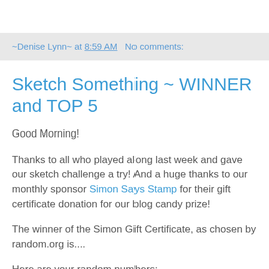~Denise Lynn~ at 8:59 AM   No comments:
Sketch Something ~ WINNER and TOP 5
Good Morning!
Thanks to all who played along last week and gave our sketch challenge a try! And a huge thanks to our monthly sponsor Simon Says Stamp for their gift certificate donation for our blog candy prize!
The winner of the Simon Gift Certificate, as chosen by random.org is....
Here are your random numbers: